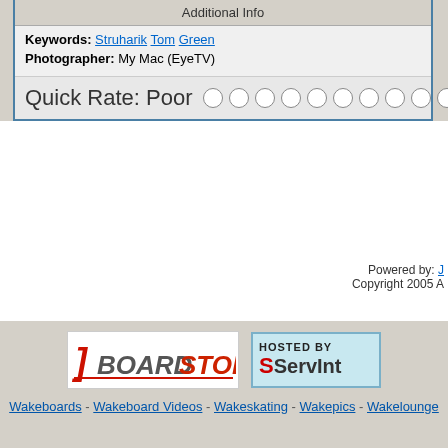Additional Info
Keywords: Struharik Tom Green
Photographer: My Mac (EyeTV)
Quick Rate: Poor (radio buttons)
Powered by: [link]
Copyright 2005 A[...]
[Figure (logo): BoardStop logo - wakeboard retailer brand]
[Figure (logo): ServInt hosting logo - HOSTED BY ServInt]
Wakeboards - Wakeboard Videos - Wakeskating - Wakepics - Wakelounge